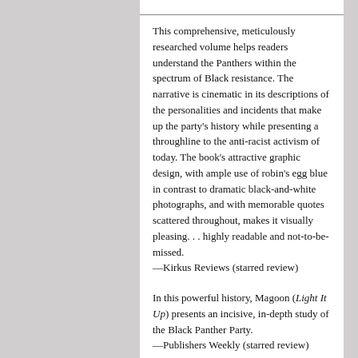This comprehensive, meticulously researched volume helps readers understand the Panthers within the spectrum of Black resistance. The narrative is cinematic in its descriptions of the personalities and incidents that make up the party's history while presenting a throughline to the anti-racist activism of today. The book's attractive graphic design, with ample use of robin's egg blue in contrast to dramatic black-and-white photographs, and with memorable quotes scattered throughout, makes it visually pleasing. . . highly readable and not-to-be-missed.
—Kirkus Reviews (starred review)
In this powerful history, Magoon (Light It Up) presents an incisive, in-depth study of the Black Panther Party.
—Publishers Weekly (starred review)
Magoon has produced a comprehensive and all-encompassing account of the group. . . . Her history of the Black Panther Party is